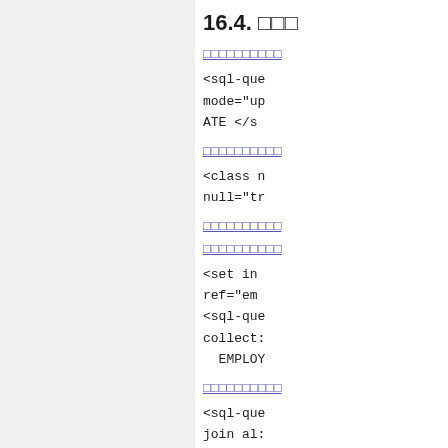16.4. □□□
□□□□□□□□□□
<sql-que
mode="up
ATE </s
□□□□□□□□□□
<class n
null="tr
□□□□□□□□□□
□□□□□□□□□□
<set in
ref="em
<sql-que
collect:
  EMPLOY
□□□□□□□□□□
<sql-que
join al:
  pers.